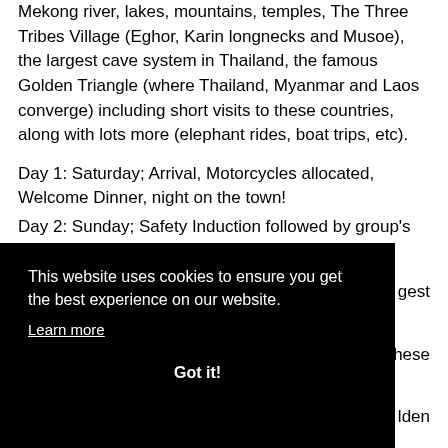Mekong river, lakes, mountains, temples, The Three Tribes Village (Eghor, Karin longnecks and Musoe), the largest cave system in Thailand, the famous Golden Triangle (where Thailand, Myanmar and Laos converge) including short visits to these countries, along with lots more (elephant rides, boat trips, etc).
Day 1: Saturday; Arrival, Motorcycles allocated, Welcome Dinner, night on the town!
Day 2: Sunday; Safety Induction followed by group's preferred Day Ride.
...gest
...nese
...lden
...m, temple ruins, the tulip fields when in season..
[Figure (screenshot): Cookie consent overlay banner with black background. Text reads: 'This website uses cookies to ensure you get the best experience on our website.' with a 'Learn more' link and a 'Got it!' button.]